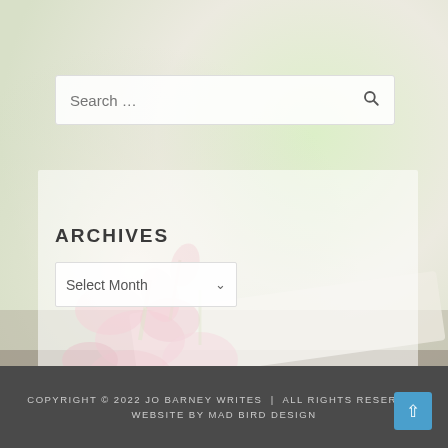[Figure (photo): Blurred background photo of pink flowers and a book on a stone surface with soft green foliage bokeh]
Search ...
ARCHIVES
Select Month
COPYRIGHT © 2022 JO BARNEY WRITES  |  ALL RIGHTS RESERVED WEBSITE BY MAD BIRD DESIGN